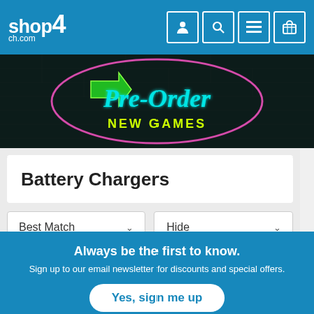shop4ch.com — navigation header with logo and icons
[Figure (illustration): Neon sign style banner on dark brick wall background reading 'Pre-Order NEW GAMES' with green arrow and pink circular border]
Battery Chargers
Best Match [dropdown] Hide [dropdown]
No results found.
Always be the first to know.
Sign up to our email newsletter for discounts and special offers.
Yes, sign me up